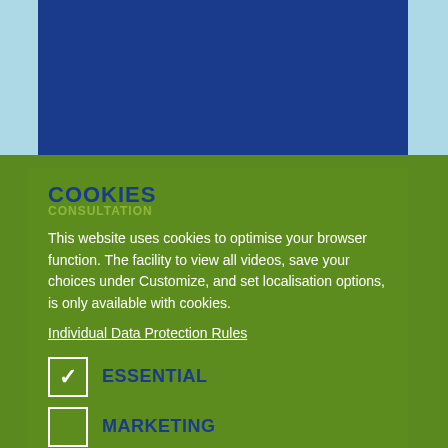[Figure (screenshot): Top section with light blue background and dark navy blue rectangular block, representing a website header area.]
COOKIES
CONSULTATION
This website uses cookies to optimise your browser function. The facility to view all videos, save your choices under Customize, and set localisation options, is only available with cookies.
Individual Data Protection Rules
ESSENTIAL
MARKETING
EXTERNAL SERVICES